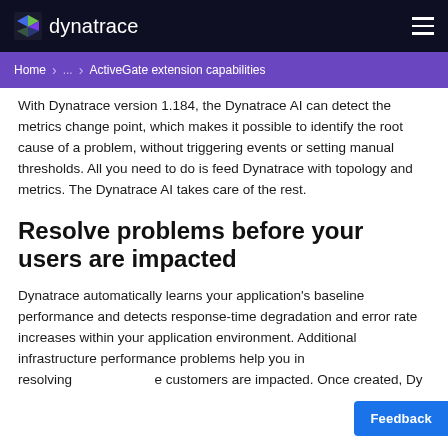dynatrace
Home > ... > ActiveGate extension capabilities
With Dynatrace version 1.184, the Dynatrace AI can detect the metrics change point, which makes it possible to identify the root cause of a problem, without triggering events or setting manual thresholds. All you need to do is feed Dynatrace with topology and metrics. The Dynatrace AI takes care of the rest.
Resolve problems before your users are impacted
Dynatrace automatically learns your application's baseline performance and detects response-time degradation and error rate increases within your application environment. Additional infrastructure performance problems help you in resolving issues before customers are impacted. Once created, Dy...